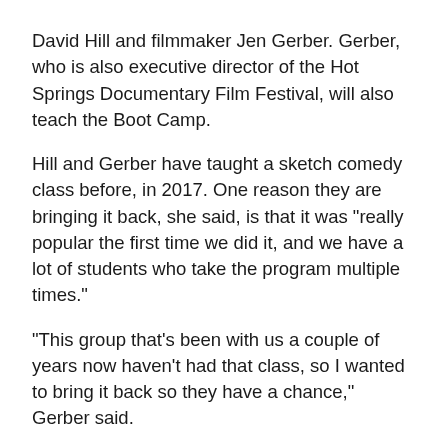David Hill and filmmaker Jen Gerber. Gerber, who is also executive director of the Hot Springs Documentary Film Festival, will also teach the Boot Camp.
Hill and Gerber have taught a sketch comedy class before, in 2017. One reason they are bringing it back, she said, is that it was "really popular the first time we did it, and we have a lot of students who take the program multiple times."
"This group that's been with us a couple of years now haven't had that class, so I wanted to bring it back so they have a chance," Gerber said.
Hill, she said, takes a different approach to his classes. "With Dave Hill teaching it, it's a different type of writing. He treats the comedy writing kind of like writing for a TV show in a writers' room. It's very collaborative," Gerber said.
Gerber said that Hill teaches the writing and she teaches the directing, producing and editing in the class. "He helps